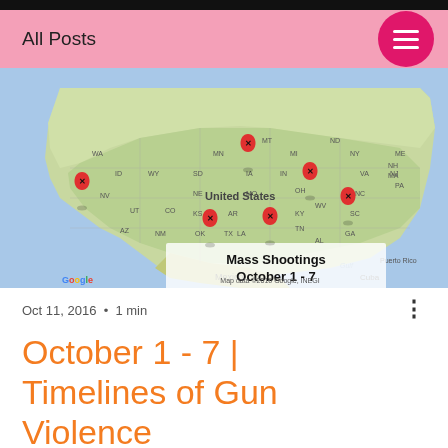All Posts
[Figure (map): Google Map of the United States showing red pin markers (with X) indicating mass shooting locations during October 1-7, 2016. Pins are placed in the western US, midwest, and southeastern regions. A text overlay reads 'Mass Shootings October 1 - 7'. Map attribution: Map data ©2016 Google, INEGI]
Oct 11, 2016  •  1 min
October 1 - 7 | Timelines of Gun Violence
Based on the source research, there